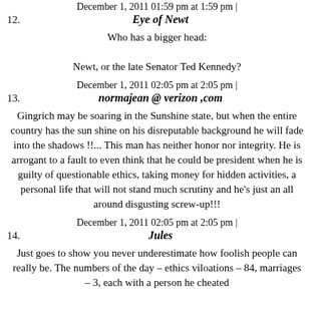12. December 1, 2011 01:59 pm at 1:59 pm | Eye of Newt
Who has a bigger head:
Newt, or the late Senator Ted Kennedy?
13. December 1, 2011 02:05 pm at 2:05 pm | normajean @ verizon ,com
Gingrich may be soaring in the Sunshine state, but when the entire country has the sun shine on his disreputable background he will fade into the shadows !!... This man has neither honor nor integrity. He is arrogant to a fault to even think that he could be president when he is guilty of questionable ethics, taking money for hidden activities, a personal life that will not stand much scrutiny and he's just an all around disgusting screw-up!!!
14. December 1, 2011 02:05 pm at 2:05 pm | Jules
Just goes to show you never underestimate how foolish people can really be. The numbers of the day – ethics viloations – 84, marriages – 3, each with a person he cheated